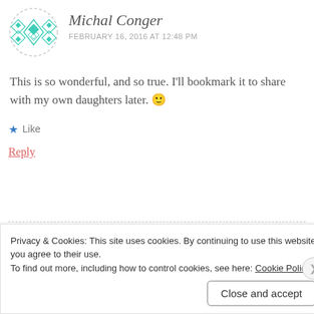[Figure (illustration): Circular avatar with teal geometric diamond/cross pattern on white background, dashed border]
Michal Conger
FEBRUARY 16, 2016 AT 12:48 PM
This is so wonderful, and so true. I'll bookmark it to share with my own daughters later. 🙂
★ Like
Reply
[Figure (photo): Circular avatar photo of Megan Eddy, grayscale, dashed border]
Megan Eddy
Privacy & Cookies: This site uses cookies. By continuing to use this website, you agree to their use.
To find out more, including how to control cookies, see here: Cookie Policy
Close and accept